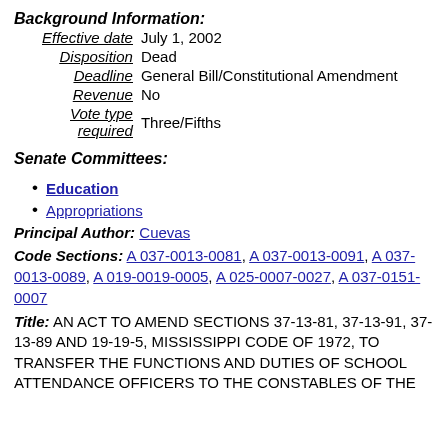Background Information:
| Label | Value |
| --- | --- |
| Effective date | July 1, 2002 |
| Disposition | Dead |
| Deadline | General Bill/Constitutional Amendment |
| Revenue | No |
| Vote type required | Three/Fifths |
Senate Committees:
Education
Appropriations
Principal Author: Cuevas
Code Sections: A 037-0013-0081, A 037-0013-0091, A 037-0013-0089, A 019-0019-0005, A 025-0007-0027, A 037-0151-0007
Title: AN ACT TO AMEND SECTIONS 37-13-81, 37-13-91, 37-13-89 AND 19-19-5, MISSISSIPPI CODE OF 1972, TO TRANSFER THE FUNCTIONS AND DUTIES OF SCHOOL ATTENDANCE OFFICERS TO THE CONSTABLES OF THE